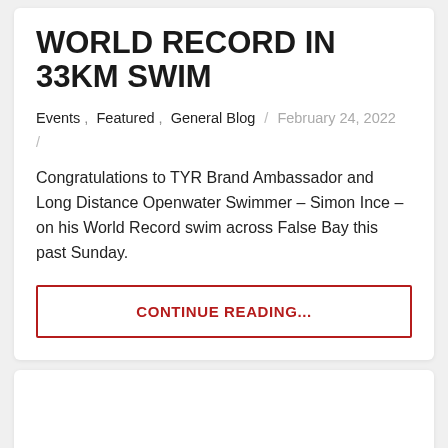WORLD RECORD IN 33KM SWIM
Events , Featured , General Blog / February 24, 2022 /
Congratulations to TYR Brand Ambassador and Long Distance Openwater Swimmer – Simon Ince – on his World Record swim across False Bay this past Sunday.
CONTINUE READING...